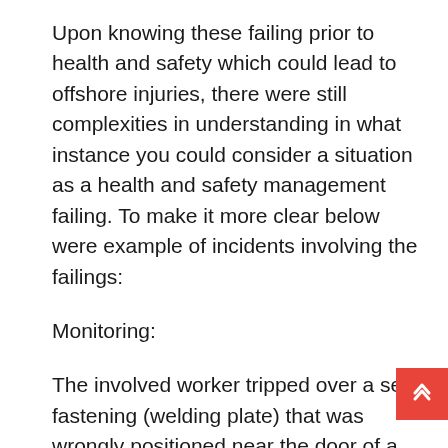Upon knowing these failing prior to health and safety which could lead to offshore injuries, there were still complexities in understanding in what instance you could consider a situation as a health and safety management failing. To make it more clear below were example of incidents involving the failings:
Monitoring:
The involved worker tripped over a sea fastening (welding plate) that was wrongly positioned near the door of a tool container. He sustained ligament damage and a twisted ankle. A safety officer had identified the incorrect sea fastening on an inspection